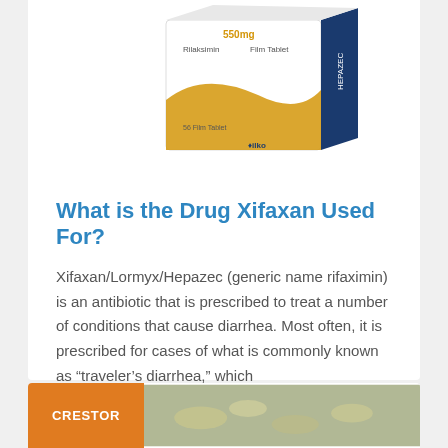[Figure (photo): Photograph of a Hepazec/Rifaximin film tablet medicine box, white and navy blue packaging with gold wave design, branded ilko, showing '56 Film Tablet' text]
What is the Drug Xifaxan Used For?
Xifaxan/Lormyx/Hepazec (generic name rifaximin) is an antibiotic that is prescribed to treat a number of conditions that cause diarrhea. Most often, it is prescribed for cases of what is commonly known as “traveler’s diarrhea,” which
READ MORE »
Carey · August 23, 2021
[Figure (photo): Partial view of a second article card with an orange 'CRESTOR' badge on the left and a blurred photo of medication/pills on the right]